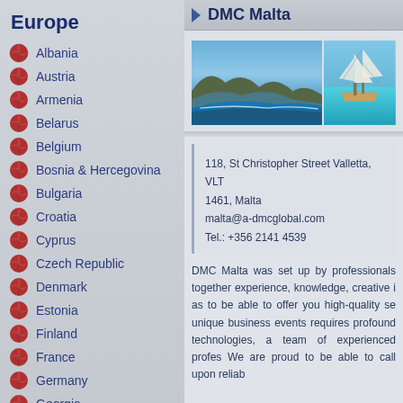Europe
Albania
Austria
Armenia
Belarus
Belgium
Bosnia & Hercegovina
Bulgaria
Croatia
Cyprus
Czech Republic
Denmark
Estonia
Finland
France
Germany
Georgia
Greece
Hungary
Iceland
DMC Malta
[Figure (photo): Two photos of Malta: left shows a scenic coastal bay with blue water and rocky cliffs, right shows a tall sailing ship on turquoise water]
118, St Christopher Street Valletta, VLT 1461, Malta
malta@a-dmcglobal.com
Tel.: +356 2141 4539
DMC Malta was set up by professionals together experience, knowledge, creative i as to be able to offer you high-quality se unique business events requires profound technologies, a team of experienced profes We are proud to be able to call upon reliab